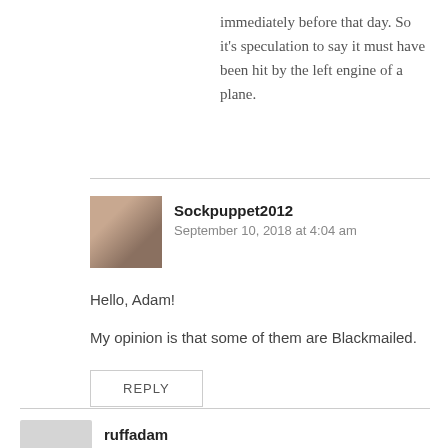immediately before that day. So it's speculation to say it must have been hit by the left engine of a plane.
Sockpuppet2012
September 10, 2018 at 4:04 am
Hello, Adam!
My opinion is that some of them are Blackmailed.
REPLY
ruffadam